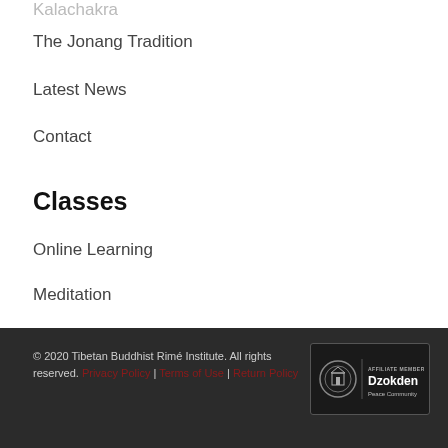Kalachakra
The Jonang Tradition
Latest News
Contact
Classes
Online Learning
Meditation
Reiki
Buddhist Philosophy
Kalachakra
© 2020 Tibetan Buddhist Rimé Institute. All rights reserved. Privacy Policy | Terms of Use | Return Policy